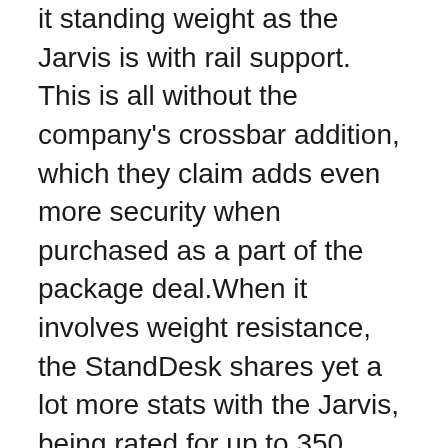it standing weight as the Jarvis is with rail support. This is all without the company's crossbar addition, which they claim adds even more security when purchased as a part of the package deal.When it involves weight resistance, the StandDesk shares yet a lot more stats with the Jarvis, being rated for up to 350 pounds of weight capacity.
I've been utilizing the desk for regarding three weeks currently for day-to-day work (and complying with standing desk best methods), whether it's typing out evaluations such as this one from our desktop or a laptop computer periodically. The desk holds up well against non-coastered drinks, and also the finish in addition to the desk still really feels just as